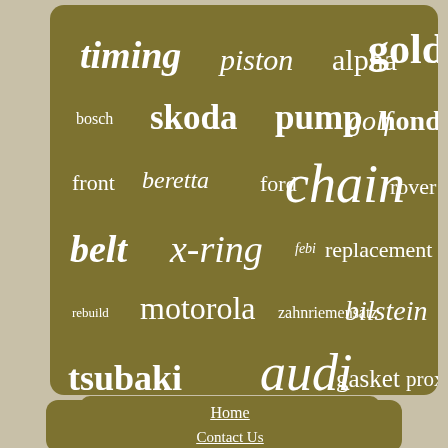[Figure (infographic): Word cloud on olive/dark yellow background showing automotive and mechanical parts keywords: timing, piston, alpha, gold, bosch, skoda, pump, golf, honda, front, beretta, ford, chain, rover, belt, x-ring, febi, replacement, rebuild, motorola, zahnriemensatz, bilstein, tsubaki, audi, gasket, prox, sprocket, range, water, seat, bora, engine, crankshaft, apex, clutch]
Home
Contact Us
Privacy Policy